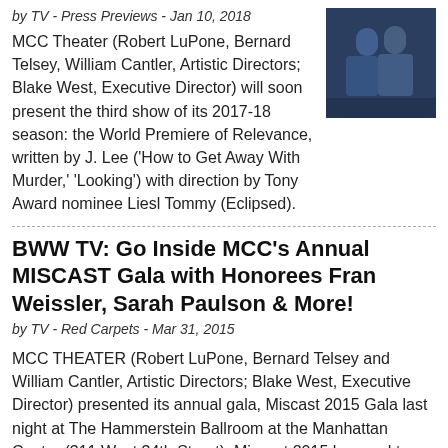by TV - Press Previews - Jan 10, 2018
[Figure (photo): Two people photographed at an event, dark background]
MCC Theater (Robert LuPone, Bernard Telsey, William Cantler, Artistic Directors; Blake West, Executive Director) will soon present the third show of its 2017-18 season: the World Premiere of Relevance, written by J. Lee ('How to Get Away With Murder,' 'Looking') with direction by Tony Award nominee Liesl Tommy (Eclipsed).
BWW TV: Go Inside MCC's Annual MISCAST Gala with Honorees Fran Weissler, Sarah Paulson & More!
by TV - Red Carpets - Mar 31, 2015
MCC THEATER (Robert LuPone, Bernard Telsey and William Cantler, Artistic Directors; Blake West, Executive Director) presented its annual gala, Miscast 2015 Gala last night at The Hammerstein Ballroom at the Manhattan Center (311 West 34th Street). Miscast 2015 honored two bold and fearless women: Emmy® & Golden Globe® nominated stage and screen actress Sarah Paulson and Tony® Award-winning